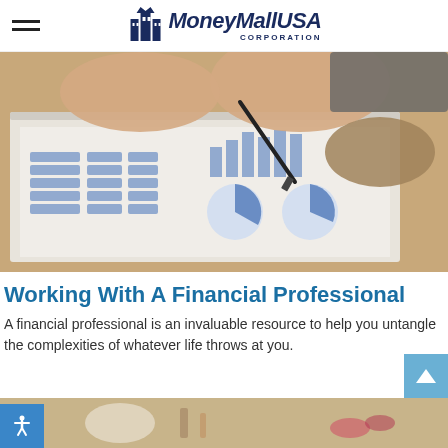MoneyMallUSA CORPORATION
[Figure (photo): Two people at a desk reviewing financial documents with charts and graphs, with a pen pointing at the documents]
Working With A Financial Professional
A financial professional is an invaluable resource to help you untangle the complexities of whatever life throws at you.
[Figure (photo): Partial bottom image showing what appears to be craft or natural materials]